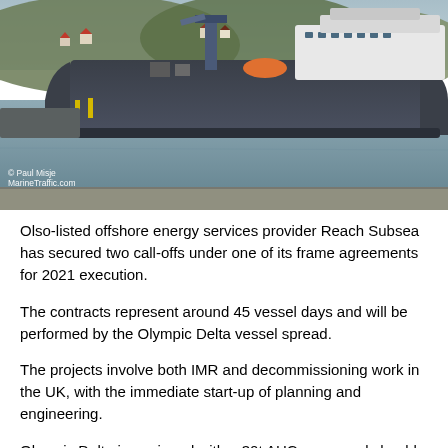[Figure (photo): A large offshore vessel (Olympic Delta) moored at a dock, with green hills and houses visible in the background across the water. Photo credit: © Paul Misje, MarineTraffic.com]
Olso-listed offshore energy services provider Reach Subsea has secured two call-offs under one of its frame agreements for 2021 execution.
The contracts represent around 45 vessel days and will be performed by the Olympic Delta vessel spread.
The projects involve both IMR and decommissioning work in the UK, with the immediate start-up of planning and engineering.
Olympic Delta is equipped with a 30t AHC crane and should...